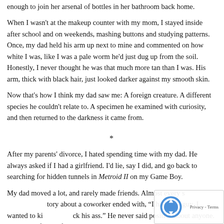enough to join her arsenal of bottles in her bathroom back home.
When I wasn't at the makeup counter with my mom, I stayed inside after school and on weekends, mashing buttons and studying patterns. Once, my dad held his arm up next to mine and commented on how white I was, like I was a pale worm he'd just dug up from the soil. Honestly, I never thought he was that much more tan than I was. His arm, thick with black hair, just looked darker against my smooth skin.
Now that's how I think my dad saw me: A foreign creature. A different species he couldn't relate to. A specimen he examined with curiosity, and then returned to the darkness it came from.
*
After my parents' divorce, I hated spending time with my dad. He always asked if I had a girlfriend. I'd lie, say I did, and go back to searching for hidden tunnels in Metroid II on my Game Boy.
My dad moved a lot, and rarely made friends. Almost every story about a coworker ended with, “I hate that guy. I wanted to kick his ass.” He never said positive about anyone. “Paul Schafer is a faggot,